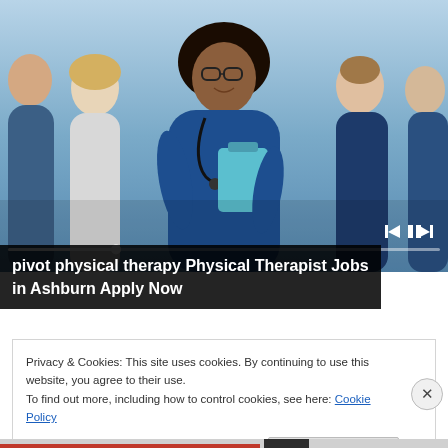[Figure (photo): Group of healthcare workers in scrubs and white coats standing together. A smiling woman with curly hair and glasses wearing blue scrubs and a stethoscope holds a clipboard in the foreground.]
pivot physical therapy Physical Therapist Jobs in Ashburn Apply Now
Privacy & Cookies: This site uses cookies. By continuing to use this website, you agree to their use.
To find out more, including how to control cookies, see here: Cookie Policy
Close and accept